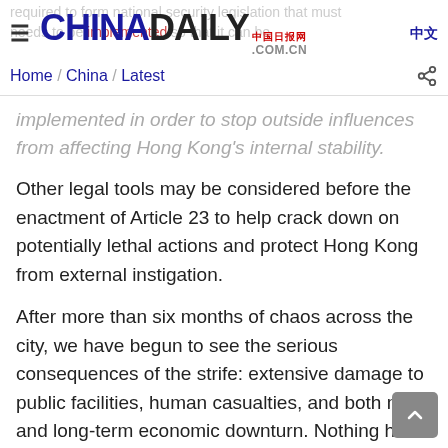China Daily 中国日报网 COM.CN 中文 Home / China / Latest
implemented in order to stop outside influences from affecting Hong Kong's internal stability.
Other legal tools may be considered before the enactment of Article 23 to help crack down on potentially lethal actions and protect Hong Kong from external instigation.
After more than six months of chaos across the city, we have begun to see the serious consequences of the strife: extensive damage to public facilities, human casualties, and both mid-and long-term economic downturn. Nothing has been left unaffected by the massive disruptions caused by violent protests.
Hong Kong is paying the price for unrest with an increa…